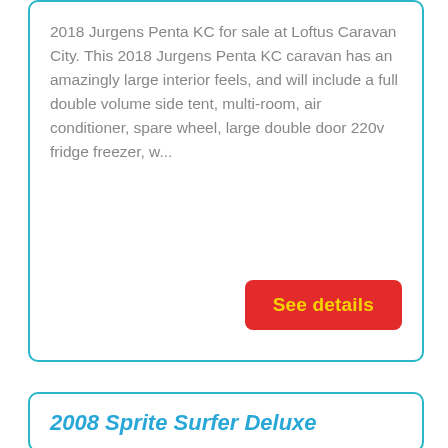2018 Jurgens Penta KC for sale at Loftus Caravan City. This 2018 Jurgens Penta KC caravan has an amazingly large interior feels, and will include a full double volume side tent, multi-room, air conditioner, spare wheel, large double door 220v fridge freezer, w...
See details
2008 Sprite Surfer Deluxe